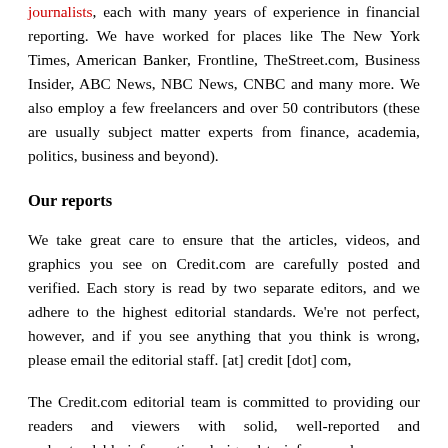journalists, each with many years of experience in financial reporting. We have worked for places like The New York Times, American Banker, Frontline, TheStreet.com, Business Insider, ABC News, NBC News, CNBC and many more. We also employ a few freelancers and over 50 contributors (these are usually subject matter experts from finance, academia, politics, business and beyond).
Our reports
We take great care to ensure that the articles, videos, and graphics you see on Credit.com are carefully posted and verified. Each story is read by two separate editors, and we adhere to the highest editorial standards. We're not perfect, however, and if you see anything that you think is wrong, please email the editorial staff. [at] credit [dot] com,
The Credit.com editorial team is committed to providing our readers and viewers with solid, well-reported and understandable information designed to inform and empower. We won't tell you what to do. However, we will do our best to explain the consequences of various actions, thereby providing you with the information you need to make decisions that are in your best interest. We also write on topics related to money and